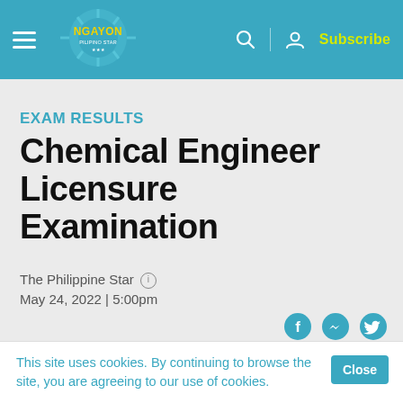Ngayon | Subscribe
EXAM RESULTS
Chemical Engineer Licensure Examination
The Philippine Star
May 24, 2022 | 5:00pm
[Figure (infographic): Social media share icons: Facebook, Messenger, Twitter]
This site uses cookies. By continuing to browse the site, you are agreeing to our use of cookies.